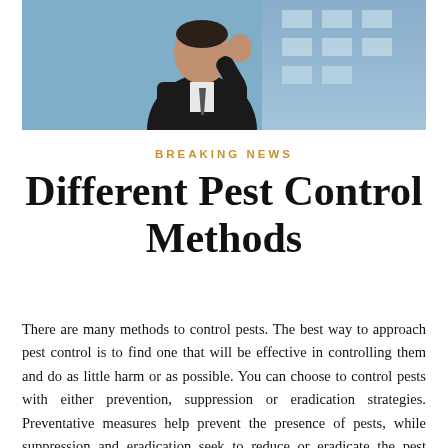[Figure (photo): Photograph of a man in a dark suit and tie, appearing to gesture or point, with a light blue building facade in the background.]
BREAKING NEWS
Different Pest Control Methods
There are many methods to control pests. The best way to approach pest control is to find one that will be effective in controlling them and do as little harm or as possible. You can choose to control pests with either prevention, suppression or eradication strategies. Preventative measures help prevent the presence of pests, while suppression and eradication seek to reduce or eradicate the pest population completely. While some of